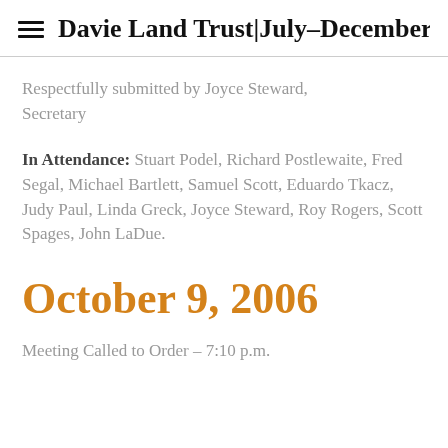Davie Land Trust|July–December
Respectfully submitted by Joyce Steward, Secretary
In Attendance: Stuart Podel, Richard Postlewaite, Fred Segal, Michael Bartlett, Samuel Scott, Eduardo Tkacz, Judy Paul, Linda Greck, Joyce Steward, Roy Rogers, Scott Spages, John LaDue.
October 9, 2006
Meeting Called to Order – 7:10 p.m.